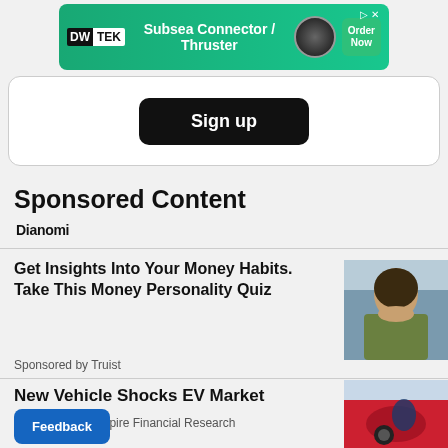[Figure (illustration): DWTEK advertisement banner: Subsea Connector / Thruster with Order Now button]
[Figure (screenshot): Sign up button on a white rounded card]
Sponsored Content
[Figure (logo): Dianomi logo]
Get Insights Into Your Money Habits. Take This Money Personality Quiz
Sponsored by Truist
[Figure (photo): Photo of a smiling woman outdoors in an urban setting]
New Vehicle Shocks EV Market
Sponsored by Empire Financial Research
[Figure (photo): Photo of an EV charging port on a red vehicle]